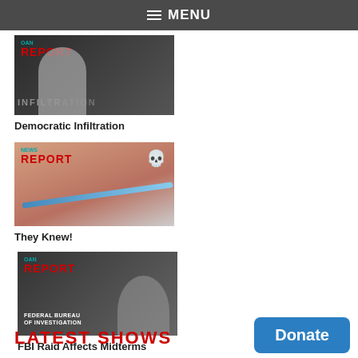MENU
[Figure (screenshot): Thumbnail image with text REPORT INFILTRATION and a woman, dark background]
Democratic Infiltration
[Figure (screenshot): Thumbnail with NEWS REPORT badge, skull and crossbones icon, and syringe on pink background]
They Knew!
[Figure (screenshot): Thumbnail with OAN REPORT badge, text FEDERAL BUREAU OF INVESTIGATION, and silhouette of person]
FBI Raid Affects Midterms
LATEST SHOWS
Donate